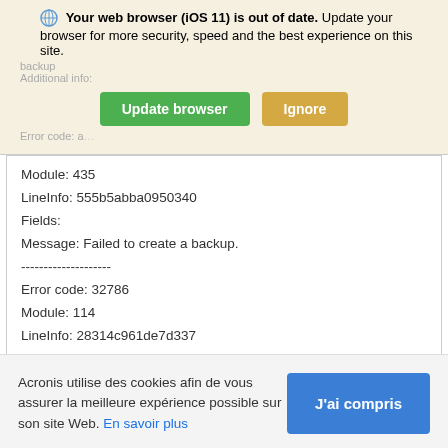[Figure (screenshot): Browser update warning banner with globe icon, bold text 'Your web browser (iOS 11) is out of date.' followed by message to update for security, speed and best experience. Two buttons: green 'Update browser' and tan 'Ignore'. Faded 'backup' and 'Additional info:' text visible behind overlay.]
Module: 435
LineInfo: 555b5abba0950340
Fields:
Message: Failed to create a backup.
--------------------
Error code: 32786
Module: 114
LineInfo: 28314c961de7d337
[Figure (screenshot): Cookie consent banner: 'Acronis utilise des cookies afin de vous assurer la meilleure expérience possible sur son site Web. En savoir plus' with blue 'J'ai compris' button.]